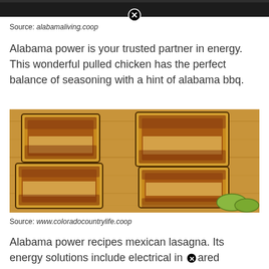[Figure (photo): Dark background top image strip with a close/dismiss button (circled X) overlaid at center]
Source: alabamaliving.coop
Alabama power is your trusted partner in energy. This wonderful pulled chicken has the perfect balance of seasoning with a hint of alabama bbq.
[Figure (photo): Overhead photo of grilled cheese sandwiches cut and spread on a wooden cutting board, with pickles visible in bottom right corner]
Source: www.coloradocountrylife.coop
Alabama power recipes mexican lasagna. Its energy solutions include electrical infrared scanning, energy